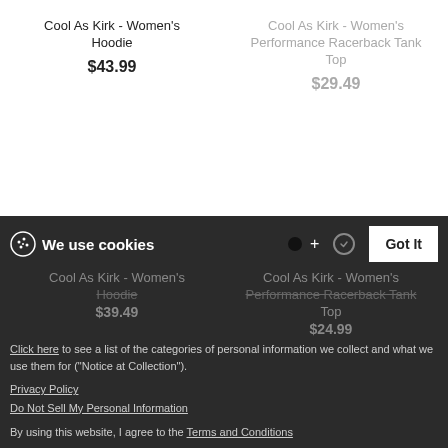Cool As Kirk - Women's Hoodie
$43.99
Cool As Kirk - Women's Performance Racerback Tank Top
$29.49
[Figure (other): New badge button - dark background with white 'New' text]
Cool As Kirk - Women's Hoodie (behind banner) $39.49
Cool As Kirk - Women's Performance Racerback Tank Top (behind banner) $24.99
We use cookies
Click here to see a list of the categories of personal information we collect and what we use them for ("Notice at Collection").
Privacy Policy
Do Not Sell My Personal Information
By using this website, I agree to the Terms and Conditions
Got It